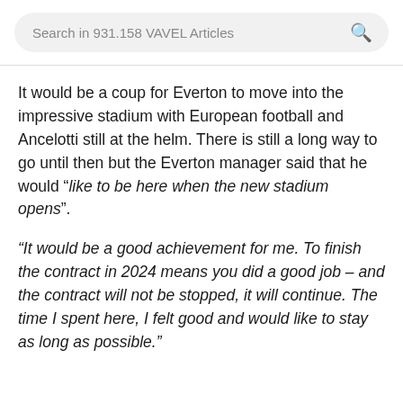Search in 931.158 VAVEL Articles
It would be a coup for Everton to move into the impressive stadium with European football and Ancelotti still at the helm. There is still a long way to go until then but the Everton manager said that he would “like to be here when the new stadium opens”.
"It would be a good achievement for me. To finish the contract in 2024 means you did a good job – and the contract will not be stopped, it will continue. The time I spent here, I felt good and would like to stay as long as possible."